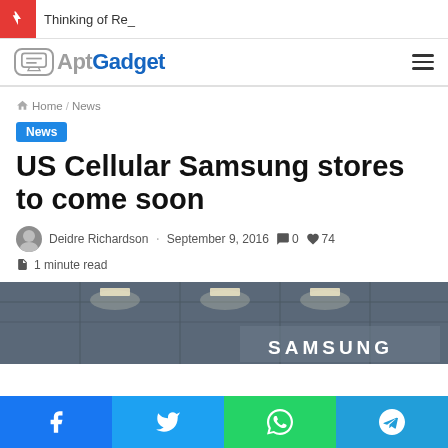Thinking of Re_
[Figure (logo): AptGadget logo with speech bubble icon]
Home / News
News
US Cellular Samsung stores to come soon
Deidre Richardson · September 9, 2016 · 0 · 74
1 minute read
[Figure (photo): Interior of a Samsung store with ceiling lights and Samsung sign]
Facebook Twitter WhatsApp Telegram social share buttons